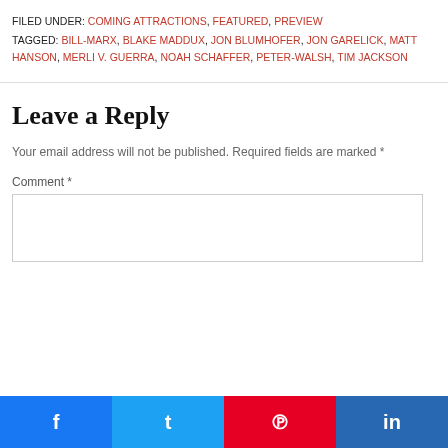FILED UNDER: COMING ATTRACTIONS, FEATURED, PREVIEW
TAGGED: BILL-MARX, BLAKE MADDUX, JON BLUMHOFER, JON GARELICK, MATT HANSON, MERLI V. GUERRA, NOAH SCHAFFER, PETER-WALSH, TIM JACKSON
Leave a Reply
Your email address will not be published. Required fields are marked *
Comment *